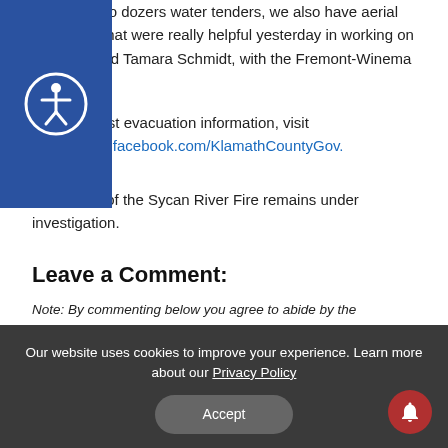[Figure (other): Accessibility icon button — white circle with person icon on dark blue background]
fire crews, to dozers water tenders, we also have aerial resources that were really helpful yesterday in working on the fire," said Tamara Schmidt, with the Fremont-Winema National t.
For the latest evacuation information, visit https://www.facebook.com/KlamathCountyGov.
The cause of the Sycan River Fire remains under investigation.
Leave a Comment:
Note: By commenting below you agree to abide by the KOBI5.com commenting guidelines. View the KOBI5.com Comment Board Guidelines »
Our website uses cookies to improve your experience. Learn more about our Privacy Policy
Accept